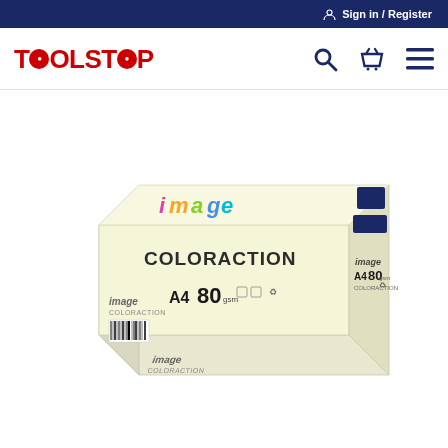Sign in / Register
[Figure (logo): Toolstop logo in red with search, basket, and menu icons]
[Figure (photo): Image Coloraction A4 80gsm coloured paper ream box in pale yellow/ivory colour]